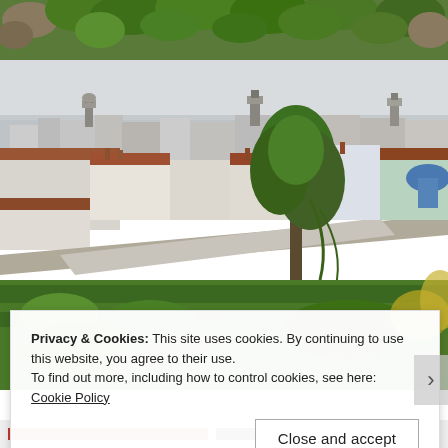[Figure (photo): Top strip: close-up of green leafy plants and rocks]
[Figure (photo): Aerial cityscape view of a Spanish city (likely Granada), showing white buildings with terracotta roofs, church towers, a large willow/poplar tree in the foreground, green gardens and hedgerows in the lower portion]
Privacy & Cookies: This site uses cookies. By continuing to use this website, you agree to their use.
To find out more, including how to control cookies, see here: Cookie Policy
Close and accept